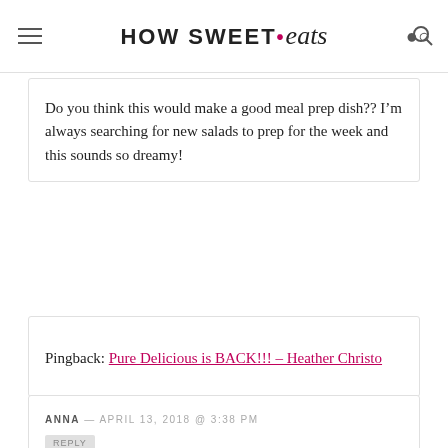HOW SWEET eats
Do you think this would make a good meal prep dish?? I’m always searching for new salads to prep for the week and this sounds so dreamy!
Pingback: Pure Delicious is BACK!!! – Heather Christo
ANNA — APRIL 13, 2018 @ 3:38 PM